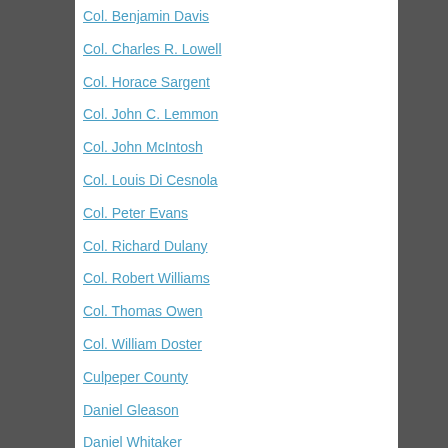Col. Benjamin Davis
Col. Charles R. Lowell
Col. Horace Sargent
Col. John C. Lemmon
Col. John McIntosh
Col. Louis Di Cesnola
Col. Peter Evans
Col. Richard Dulany
Col. Robert Williams
Col. Thomas Owen
Col. William Doster
Culpeper County
Daniel Gleason
Daniel Whitaker
David Gregg
Detroit